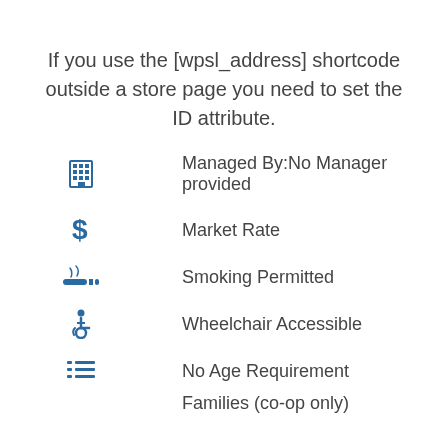If you use the [wpsl_address] shortcode outside a store page you need to set the ID attribute.
Managed By:No Manager provided
Market Rate
Smoking Permitted
Wheelchair Accessible
No Age Requirement
Families (co-op only)
Learn More